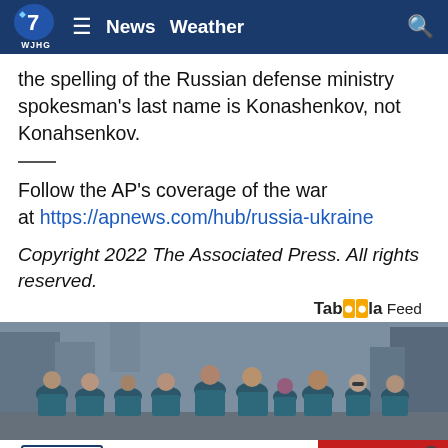WJHG 7 News Weather
the spelling of the Russian defense ministry spokesman's last name is Konashenkov, not Konahsenkov.
Follow the AP's coverage of the war at https://apnews.com/hub/russia-ukraine
Copyright 2022 The Associated Press. All rights reserved.
Taboola Feed
[Figure (photo): Group photo of people wearing matching blue smartasset t-shirts standing on a city street]
[Figure (photo): Advertisement banner for That Boot Store: 850-785-1132, Offering Work Boots and Casual Boots, Open Tuesday thru Saturday]